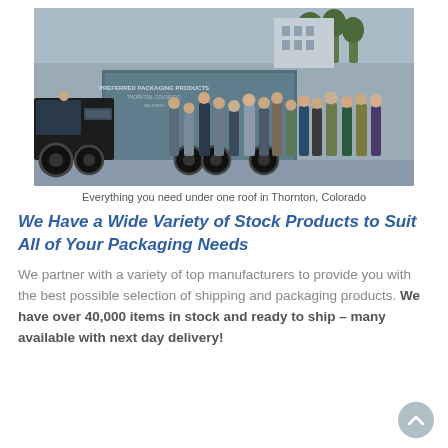[Figure (photo): Group photo of employees standing in front of a delivery truck with 'Preferred Packaging Products' branding on the trailer, outdoors in a parking area.]
Everything you need under one roof in Thornton, Colorado
We Have a Wide Variety of Stock Products to Suit All of Your Packaging Needs
We partner with a variety of top manufacturers to provide you with the best possible selection of shipping and packaging products. We have over 40,000 items in stock and ready to ship – many available with next day delivery!